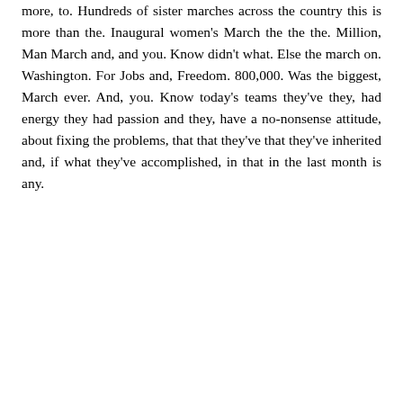more, to. Hundreds of sister marches across the country this is more than the. Inaugural women's March the the the. Million, Man March and, and you. Know didn't what. Else the march on. Washington. For Jobs and, Freedom. 800,000. Was the biggest, March ever. And, you. Know today's teams they've they, had energy they had passion and they, have a no-nonsense attitude, about fixing the problems, that that they've that they've inherited and, if what they've accomplished, in that in the last month is any.